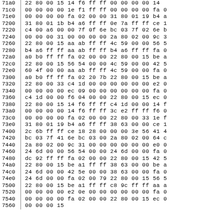| Address | Hex Bytes |
| --- | --- |
| 71a0 | 22 80 00 15 14 f6 ff ff 00 00 00 00 14 |
| 71c0 | 00 00 00 00 1e f1 ff ff 00 00 00 00 fa 0 |
| 71e0 | 00 00 00 00 fa 02 00 00 31 80 01 19 b4 a |
| 7200 | 31 80 01 1b b4 a6 ff ff 0e 7a ff ff ce 1 |
| 7220 | c4 00 a6 00 00 7f 0f 6e bc 03 7f 02 6e b |
| 7240 | 00 00 00 31 00 00 00 00 2a 80 02 00 9c 3 |
| 7260 | 22 80 00 15 aa ab ff ff 4c 59 00 00 56 5 |
| 7280 | b4 a6 ff ff aa ab ff ff b4 a6 ff ff fa 0 |
| 72a0 | a0 b0 ff ff fa 02 00 00 22 80 00 15 be a |
| 72c0 | 22 80 00 15 56 54 00 00 4c 59 00 00 42 5 |
| 72e0 | 60 4f 00 00 aa ab ff ff 4c 59 00 00 fa 0 |
| 7300 | a0 b0 ff ff fa 02 20 7b 22 80 00 15 be a |
| 7320 | 22 80 00 33 c4 1d 00 00 00 00 00 00 e2 0 |
| 7340 | 00 00 00 00 ec 09 00 00 00 00 00 00 fa 0 |
| 7360 | c4 1d 00 00 f6 04 00 00 22 80 00 15 ec 0 |
| 7380 | 22 80 00 15 14 f6 ff ff c4 1d 00 00 14 f |
| 73a0 | 00 00 00 00 14 f6 ff ff 3c e2 ff ff f6 0 |
| 73c0 | 00 00 00 00 fa 02 00 00 22 80 00 33 1e f |
| 73e0 | 31 80 01 19 b4 a6 ff ff 38 63 00 00 ce 1 |
| 7400 | 2c 6b ff ff ce 18 28 00 00 00 3e 56 41 4 |
| 7420 | bc 03 7f 41 6e bc 03 00 2a 80 02 00 64 c |
| 7440 | 2a 80 02 00 9c 31 00 00 00 00 00 00 e0 0 |
| 7460 | 24 6d 00 00 56 54 00 00 24 6d 00 00 fa 0 |
| 7480 | dc 92 ff ff fa 02 00 00 22 80 00 15 42 5 |
| 74a0 | 22 80 00 15 be a1 ff ff 38 63 00 00 be a |
| 74c0 | 24 6d 00 00 42 5e 00 00 38 63 00 00 fa 0 |
| 74e0 | 24 6d 00 00 fa 02 00 79 22 80 00 15 56 5 |
| 7500 | 22 80 00 15 be a1 ff ff c8 9c ff ff aa a |
| 7520 | 00 00 00 00 e2 0e 00 00 00 00 00 00 fa 0 |
| 7540 | 00 00 00 00 fa 02 00 00 22 80 00 15 ec 0 |
| 7560 | 00 00 00 15 |